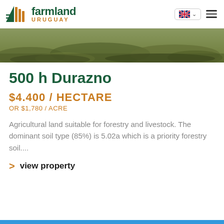farmland URUGUAY
[Figure (photo): Aerial or ground-level photo of grassland/farmland with dry grass and shrubs]
500 h Durazno
$4.400 / HECTARE
OR $1,780 / ACRE
Agricultural land suitable for forestry and livestock. The dominant soil type (85%) is 5.02a which is a priority forestry soil....
> view property